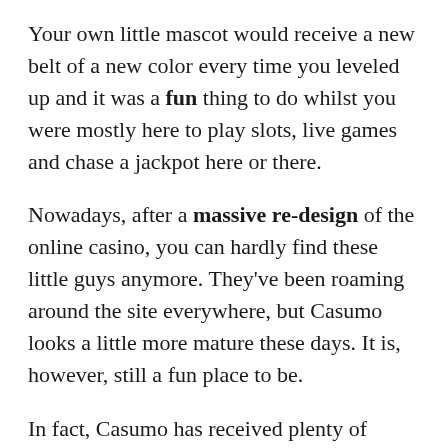Your own little mascot would receive a new belt of a new color every time you leveled up and it was a fun thing to do whilst you were mostly here to play slots, live games and chase a jackpot here or there.
Nowadays, after a massive re-design of the online casino, you can hardly find these little guys anymore. They've been roaming around the site everywhere, but Casumo looks a little more mature these days. It is, however, still a fun place to be.
In fact, Casumo has received plenty of industry awards as a rising star, as an innovative online casino and for their great mobile casino. This year, 2019, they've been awarded as the Online Casino